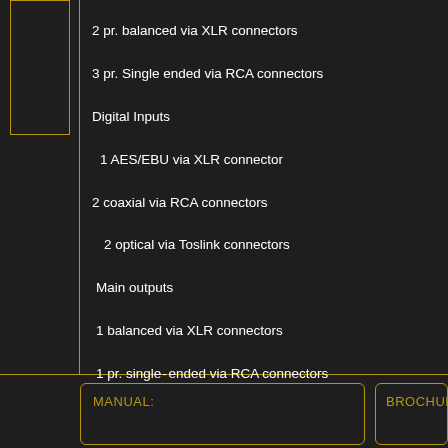2 pr. balanced via XLR connectors
3 pr. Single ended via RCA connectors
Digital Inputs
1 AES/EBU via XLR connector
2 coaxial via RCA connectors
2 optical via Toslink connectors
Main outputs
1 balanced via XLR connectors
1 pr. single‑ended via RCA connectors
MANUAL:
BROCHURE: